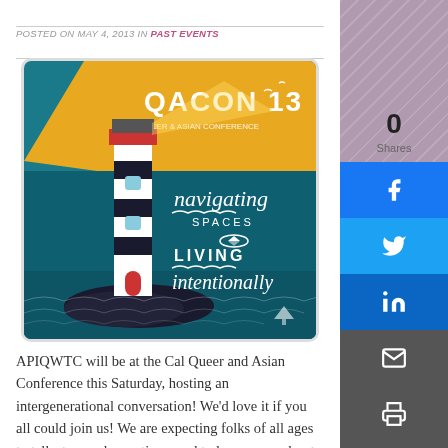POSTED ON MAY 4, 2013 IN PAST EVENTS
[Figure (illustration): QACON 13 conference poster featuring a lighthouse illustration against a teal and gold background with text 'navigating SPACES LIVING intentionally']
APIQWTC will be at the Cal Queer and Asian Conference this Saturday, hosting an intergenerational conversation!  We'd love it if you all could join us!  We are expecting folks of all ages to talk story, ask questions, and to learn more about each other's successes and struggles
0 Shares